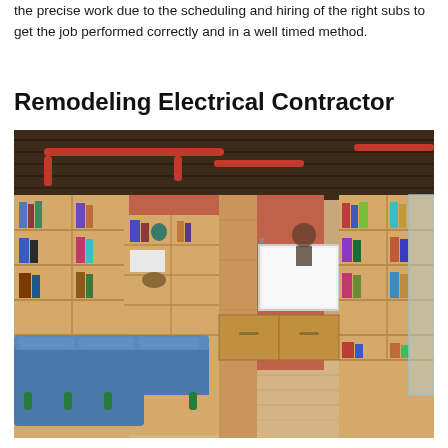the precise work due to the scheduling and hiring of the right subs to get the job performed correctly and in a well timed method.
Remodeling Electrical Contractor
[Figure (photo): Interior photo of a remodeled space with wooden bookshelves covering the walls, a blue sectional sofa, a projector screen/whiteboard, exposed wooden ceiling beams, red pipes on the ceiling, and a glass partition wall on the right side.]